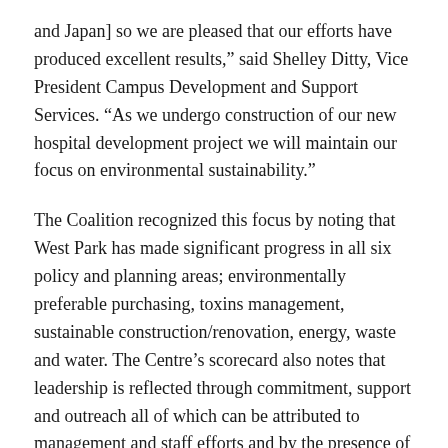and Japan] so we are pleased that our efforts have produced excellent results," said Shelley Ditty, Vice President Campus Development and Support Services. "As we undergo construction of our new hospital development project we will maintain our focus on environmental sustainability."
The Coalition recognized this focus by noting that West Park has made significant progress in all six policy and planning areas; environmentally preferable purchasing, toxins management, sustainable construction/renovation, energy, waste and water. The Centre’s scorecard also notes that leadership is reflected through commitment, support and outreach all of which can be attributed to management and staff efforts and by the presence of West Park’s Environmental Committee.